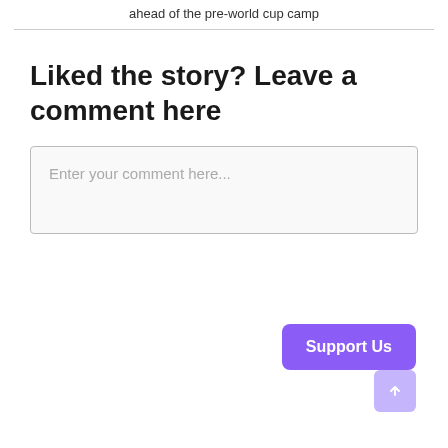ahead of the pre-world cup camp
Liked the story? Leave a comment here
Enter your comment here...
[Figure (other): Purple 'Support Us' button widget in bottom-right corner with a scroll-to-top button below it]